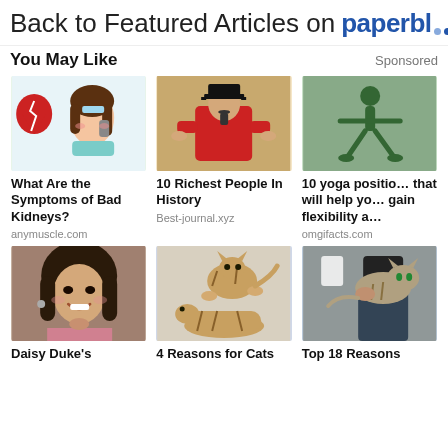Back to Featured Articles on paperbl…
You May Like
Sponsored
[Figure (photo): Illustration of a woman with bandage on head talking on phone with a broken heart symbol]
What Are the Symptoms of Bad Kidneys?
anymuscle.com
[Figure (photo): Traditional East Asian painting of a man in red robes and black hat]
10 Richest People In History
Best-journal.xyz
[Figure (photo): Partial view of yoga positions article thumbnail]
10 yoga positions that will help you gain flexibility a…
omgifacts.com
[Figure (photo): Photo of a smiling woman with dark hair]
Daisy Duke's
[Figure (photo): Photo of two cats fighting/playing]
4 Reasons for Cats
[Figure (photo): Photo of a cat on someone's lap]
Top 18 Reasons